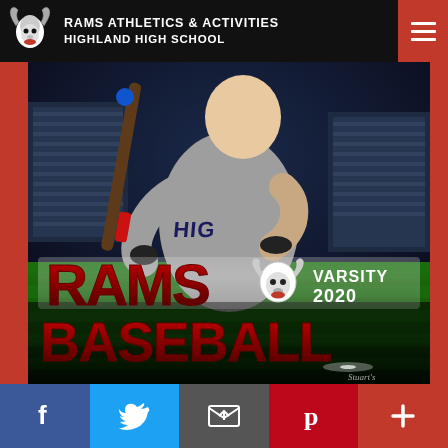RAMS ATHLETICS & ACTIVITIES HIGHLAND HIGH SCHOOL
[Figure (photo): Baseball player in Highland jersey holding a bat in batting stance, with stadium crowd in background. Large text overlay reads: RAMS (with ram logo) VARSITY 2020 BASEBALL. Stuart's photography credit in lower right.]
[Figure (infographic): Social media share bar with Facebook, Twitter, Email, Pinterest, and Plus buttons]